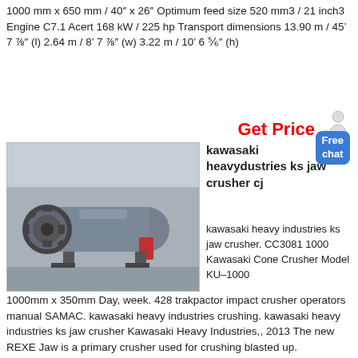1000 mm x 650 mm / 40″ x 26″ Optimum feed size 520 mm3 / 21 inch3 Engine C7.1 Acert 168 kW / 225 hp Transport dimensions 13.90 m / 45’ 7 ⅞″ (l) 2.64 m / 8’ 7 ⅞″ (w) 3.22 m / 10’ 6 ⅘″ (h)
[Figure (photo): Industrial ball mill / grinding machine in a warehouse setting, large cylindrical grey machine with gear wheel on the left side]
kawasaki heavydustries ks jaw crusher cj
kawasaki heavy industries ks jaw crusher. CC3081 1000 Kawasaki Cone Crusher Model KU–1000
1000mm x 350mm Day, week. 428 trakpactor impact crusher operators manual SAMAC. kawasaki heavy industries crushing. kawasaki heavy industries ks jaw crusher Kawasaki Heavy Industries,, 2013 The new REXE Jaw is a primary crusher used for crushing blasted up.